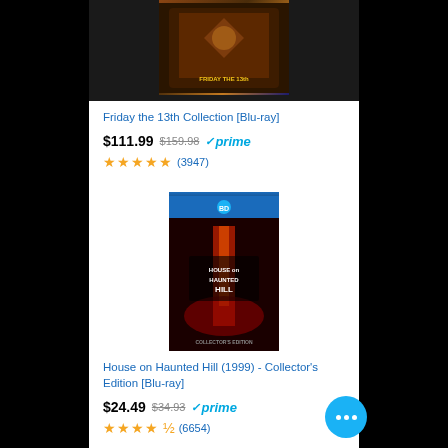[Figure (photo): Friday the 13th Collection Blu-ray box set product image (partially cropped at top)]
Friday the 13th Collection [Blu-ray]
$111.99  $159.98  ✓prime
★★★★★ (3947)
[Figure (photo): House on Haunted Hill (1999) Collector's Edition Blu-ray product image showing horror movie cover with lightning and red atmospheric imagery]
House on Haunted Hill (1999) - Collector's Edition [Blu-ray]
$24.49  $34.93  ✓prime
★★★★½ (6654)
Ads by Amazon